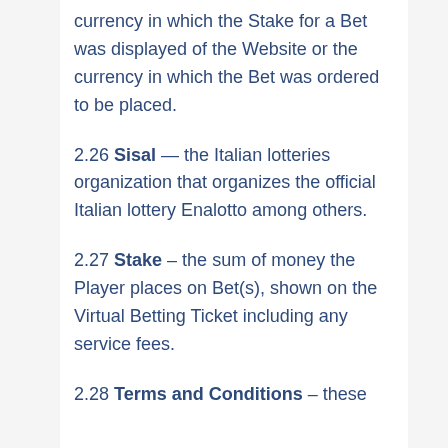currency in which the Stake for a Bet was displayed of the Website or the currency in which the Bet was ordered to be placed.
2.26 Sisal — the Italian lotteries organization that organizes the official Italian lottery Enalotto among others.
2.27 Stake – the sum of money the Player places on Bet(s), shown on the Virtual Betting Ticket including any service fees.
2.28 Terms and Conditions – these